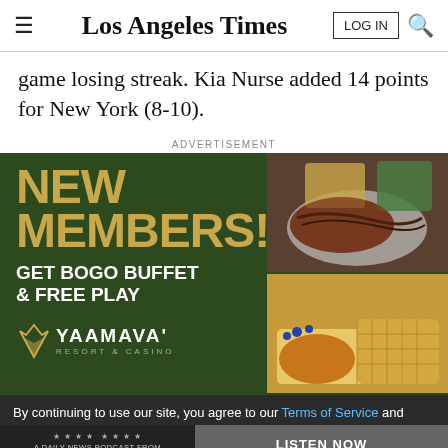Los Angeles Times
game losing streak. Kia Nurse added 14 points for New York (8-10).
ADVERTISEMENT
[Figure (photo): Yaamava Resort & Casino advertisement: 'New Members! Get BOGO Buffet & Free Play' with photos of steak dish and chicken & waffles]
By continuing to use our site, you agree to our Terms of Service and Privacy Policy. You can learn more about how we use cookies by reviewing our Privacy Policy. Close